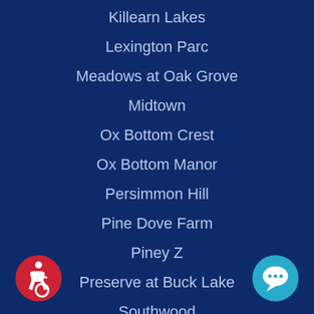Killearn Lakes
Lexington Parc
Meadows at Oak Grove
Midtown
Ox Bottom Crest
Ox Bottom Manor
Persimmon Hill
Pine Dove Farm
Piney Z
Preserve at Buck Lake
Southwood
Summerbrooke
Upper East
Waverly Hills
Weems Plantation
Woodland Place
[Figure (illustration): Red circular accessibility/wheelchair icon in bottom-left corner]
[Figure (illustration): Blue circular chat/speech bubble icon in bottom-right corner]